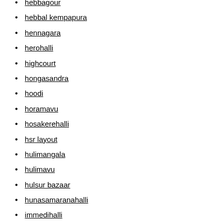hebbagour
hebbal kempapura
hennagara
herohalli
highcourt
hongasandra
hoodi
horamavu
hosakerehalli
hsr layout
hulimangala
hulimavu
hulsur bazaar
hunasamaranahalli
immedihalli
indalvadi